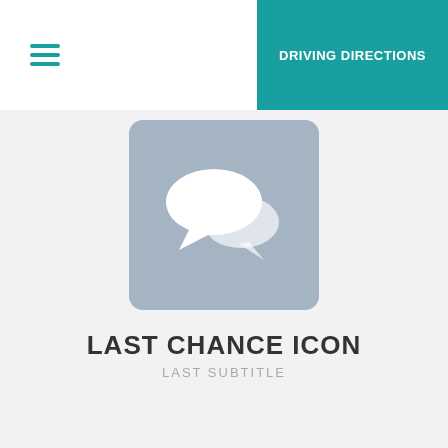DRIVING DIRECTIONS
[Figure (illustration): Chat/speech bubbles icon on a grey-blue rounded square background]
LAST CHANCE ICON
LAST SUBTITLE